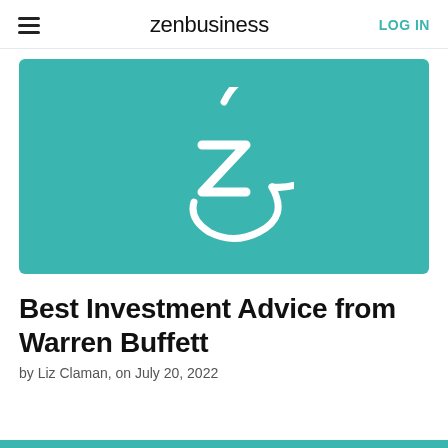zenbusiness  LOG IN
[Figure (logo): ZenBusiness teal banner with white circular Z logo]
Best Investment Advice from Warren Buffett
by Liz Claman, on July 20, 2022